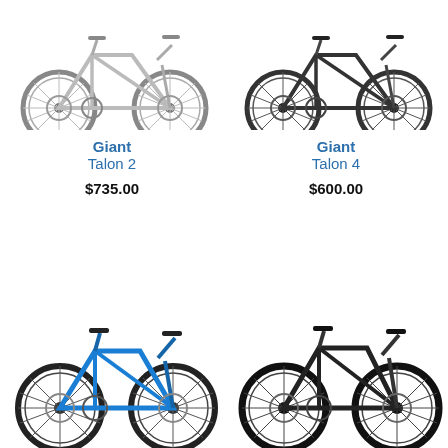[Figure (photo): Giant Talon 2 mountain bike, silver/grey color, top portion cropped]
Giant
Talon 2
$735.00
[Figure (photo): Giant Talon 4 mountain bike, dark/black color, top portion cropped]
Giant
Talon 4
$600.00
[Figure (photo): Giant mountain bike, blue color, full view]
[Figure (photo): Giant mountain bike, dark/black color, full view]